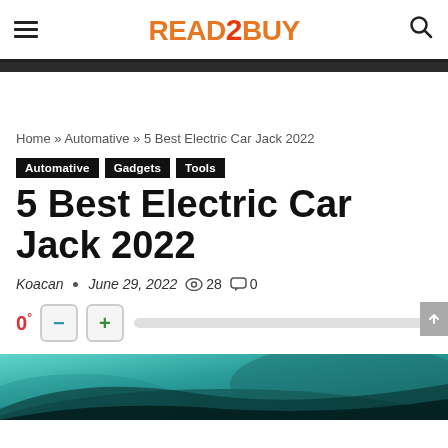READ2BUY
Home » Automative » 5 Best Electric Car Jack 2022
Automative
Gadgets
Tools
5 Best Electric Car Jack 2022
Koacan • June 29, 2022 👁 28 💬 0
0°  −  +
[Figure (photo): Car interior dashboard photo at the bottom of the page, teal/turquoise color tones]